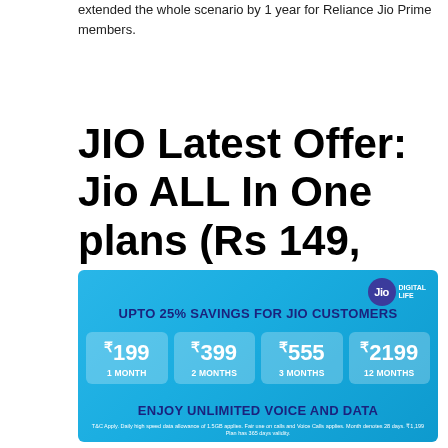extended the whole scenario by 1 year for Reliance Jio Prime members.
JIO Latest Offer: Jio ALL In One plans (Rs 149, 179, 209, 479)
[Figure (infographic): Jio promotional banner showing UPTO 25% SAVINGS FOR JIO CUSTOMERS with four plan boxes: ₹199 1 Month, ₹399 2 Months, ₹555 3 Months, ₹2199 12 Months. Bottom text: ENJOY UNLIMITED VOICE AND DATA with T&C fine print.]